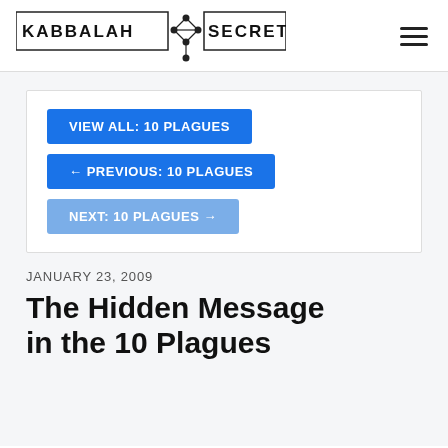[Figure (logo): Kabbalah Secrets logo with text and geometric Tree of Life symbol]
VIEW ALL: 10 PLAGUES
← PREVIOUS: 10 PLAGUES
NEXT: 10 PLAGUES →
JANUARY 23, 2009
The Hidden Message in the 10 Plagues